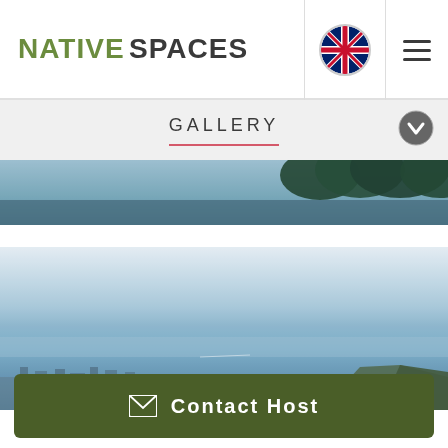NATIVE SPACES
GALLERY
[Figure (photo): Partially visible landscape photo showing dark water and trees with foliage at right edge]
[Figure (photo): Coastal landscape photo showing pale blue sky fading into sea, with rocky headland and settlement visible in lower portion]
Contact Host